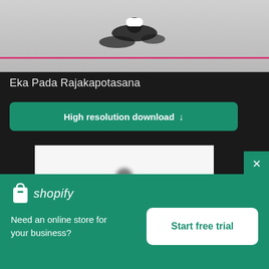[Figure (photo): Yoga pose (Eka Pada Rajakapotasana) photo cropped at top showing person on pink mat, light grey background]
Eka Pada Rajakapotasana
High resolution download ↓
[Figure (photo): Blurred yoga silhouette image on white background showing dancer/yoga pose with arms extended]
×
[Figure (logo): Shopify logo - white shopping bag icon and shopify text]
Need an online store for your business?
Start free trial